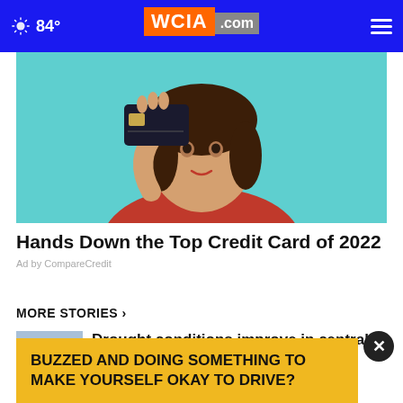84° WCIA.com
[Figure (photo): Woman holding a dark credit card in front of her face against teal background, wearing red sweater]
Hands Down the Top Credit Card of 2022
Ad by CompareCredit
MORE STORIES ›
Drought conditions improve in central Illinois, Ill...
IDOT opening applications for
BUZZED AND DOING SOMETHING TO MAKE YOURSELF OKAY TO DRIVE?